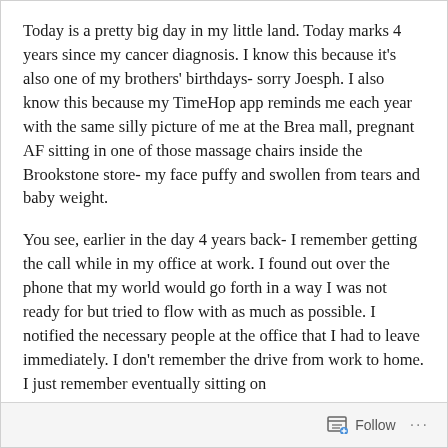Today is a pretty big day in my little land. Today marks 4 years since my cancer diagnosis. I know this because it's also one of my brothers' birthdays- sorry Joesph. I also know this because my TimeHop app reminds me each year with the same silly picture of me at the Brea mall, pregnant AF sitting in one of those massage chairs inside the Brookstone store- my face puffy and swollen from tears and baby weight.
You see, earlier in the day 4 years back- I remember getting the call while in my office at work. I found out over the phone that my world would go forth in a way I was not ready for but tried to flow with as much as possible. I notified the necessary people at the office that I had to leave immediately. I don't remember the drive from work to home. I just remember eventually sitting on
Follow ···